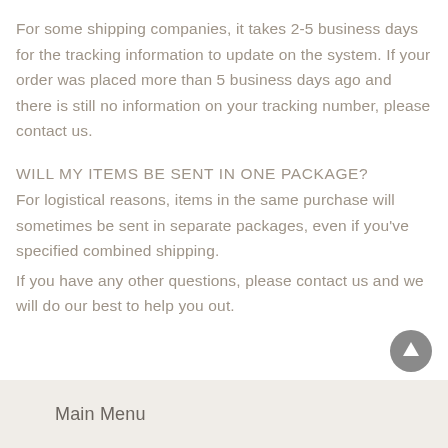For some shipping companies, it takes 2-5 business days for the tracking information to update on the system. If your order was placed more than 5 business days ago and there is still no information on your tracking number, please contact us.
WILL MY ITEMS BE SENT IN ONE PACKAGE?
For logistical reasons, items in the same purchase will sometimes be sent in separate packages, even if you've specified combined shipping.
If you have any other questions, please contact us and we will do our best to help you out.
Main Menu